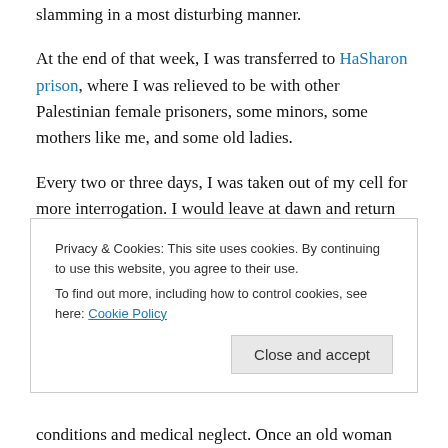slamming in a most disturbing manner.
At the end of that week, I was transferred to HaSharon prison, where I was relieved to be with other Palestinian female prisoners, some minors, some mothers like me, and some old ladies.
Every two or three days, I was taken out of my cell for more interrogation. I would leave at dawn and return around midnight. Occasionally, I was put in a large military truck with other women and taken to military court. We
Privacy & Cookies: This site uses cookies. By continuing to use this website, you agree to their use.
To find out more, including how to control cookies, see here: Cookie Policy
conditions and medical neglect. Once an old woman